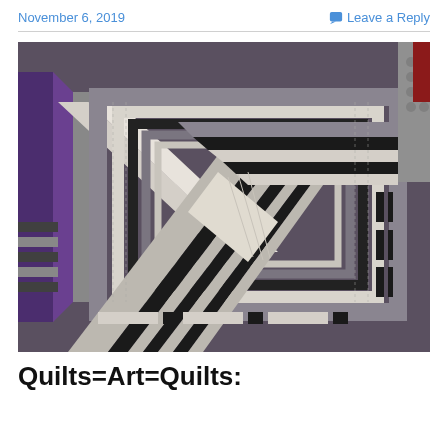November 6, 2019    Leave a Reply
[Figure (photo): Close-up photograph of a geometric art quilt featuring angular triangular and rectangular patterns in black, white, gray, and purple/mauve fabrics with quilting stitch lines visible.]
Quilts=Art=Quilts: